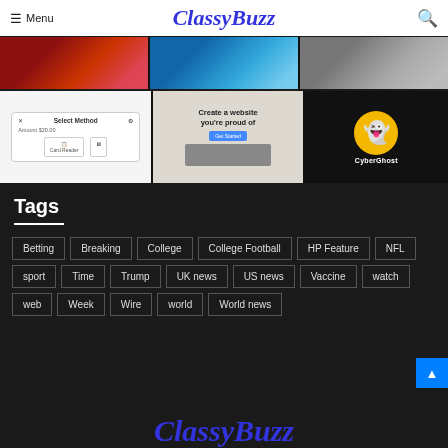Menu | ClassyBuzz
[Figure (screenshot): Top row of three images: billiard balls (sports), tennis player on court, person exercising]
[Figure (screenshot): Second row of three images: payment method screen showing Amount $20.00 with Card Reader option, website builder landing page 'Create a website you're proud of', CyberGhost VPN logo with ghost icon on yellow circle]
Tags
Betting
Breaking
College
College Football
HP Feature
NFL
sport
Time
Trump
UK news
US news
Vaccine
watch
web
Week
Wire
world
World news
ClassyBuzz